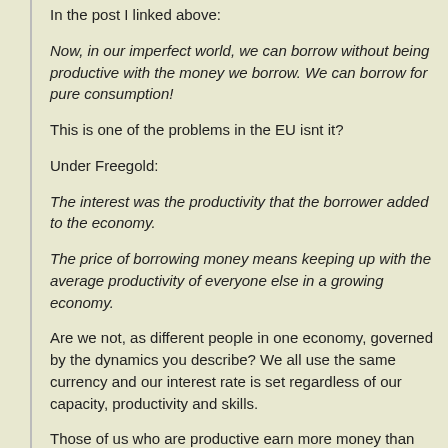In the post I linked above:
Now, in our imperfect world, we can borrow without being productive with the money we borrow. We can borrow for pure consumption!
This is one of the problems in the EU isnt it?
Under Freegold:
The interest was the productivity that the borrower added to the economy.
The price of borrowing money means keeping up with the average productivity of everyone else in a growing economy.
Are we not, as different people in one economy, governed by the dynamics you describe? We all use the same currency and our interest rate is set regardless of our capacity, productivity and skills.
Those of us who are productive earn more money than those who arent. I know that there are imbalances in how value is perceived i.e bankers and ceo remuneration vs everyone else for example,